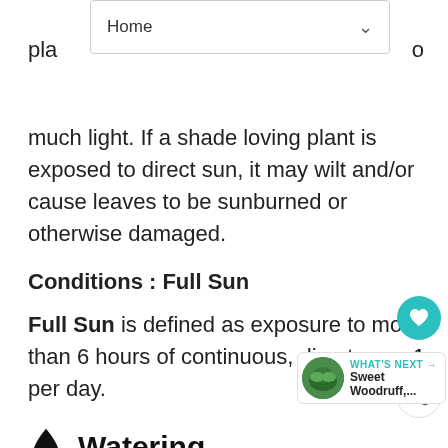Home
pla... o
much light. If a shade loving plant is exposed to direct sun, it may wilt and/or cause leaves to be sunburned or otherwise damaged.
Conditions : Full Sun
Full Sun is defined as exposure to more than 6 hours of continuous, direct sun per day.
Watering
Conditions : Moist and Well Drained
Moist and well drained means exactly what it says, but like...